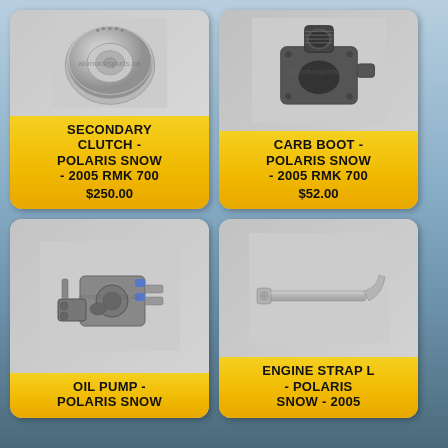[Figure (photo): Secondary clutch part for Polaris snowmobile, metallic disc shape]
SECONDARY CLUTCH - POLARIS SNOW - 2005 RMK 700
$250.00
[Figure (photo): Carb boot / intake manifold connector for Polaris snowmobile, black plastic part]
CARB BOOT - POLARIS SNOW - 2005 RMK 700
$52.00
[Figure (photo): Oil pump mechanical part for Polaris snowmobile]
OIL PUMP - POLARIS SNOW
[Figure (photo): Engine strap L bracket for Polaris snowmobile, metal bar]
ENGINE STRAP L - POLARIS SNOW - 2005